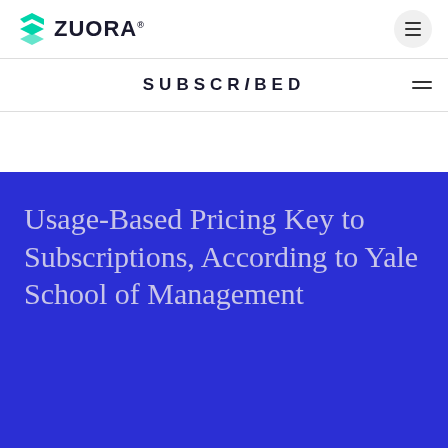ZUORA
SUBSCRiBED
Usage-Based Pricing Key to Subscriptions, According to Yale School of Management